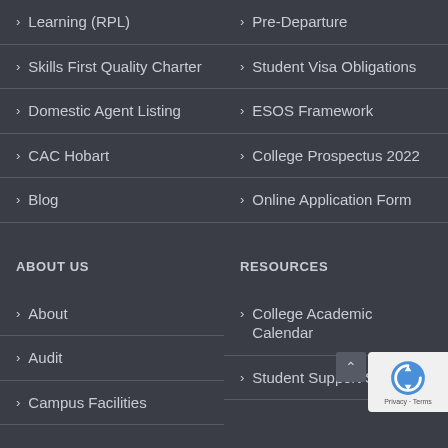Learning (RPL)
Pre-Departure
Skills First Quality Charter
Student Visa Obligations
Domestic Agent Listing
ESOS Framework
CAC Hobart
College Prospectus 2022
Blog
Online Application Form
ABOUT US
RESOURCES
About
College Academic Calendar
Audit
Student Support Services
Campus Facilities